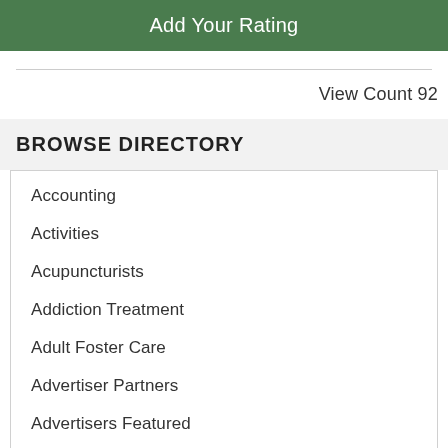Add Your Rating
View Count 92
BROWSE DIRECTORY
Accounting
Activities
Acupuncturists
Addiction Treatment
Adult Foster Care
Advertiser Partners
Advertisers Featured
Advertisers Promoted